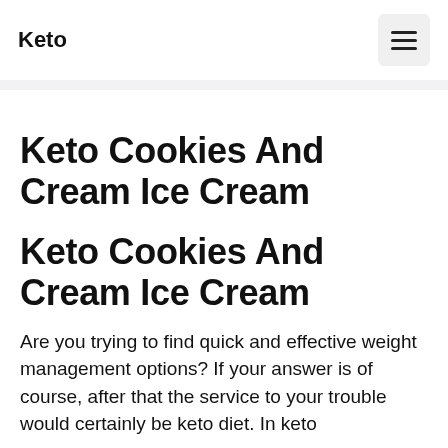Keto
Keto Cookies And Cream Ice Cream
Keto Cookies And Cream Ice Cream
Are you trying to find quick and effective weight management options? If your answer is of course, after that the service to your trouble would certainly be keto diet. In keto